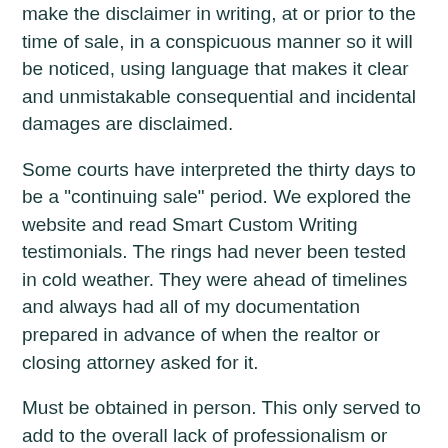make the disclaimer in writing, at or prior to the time of sale, in a conspicuous manner so it will be noticed, using language that makes it clear and unmistakable consequential and incidental damages are disclaimed.
Some courts have interpreted the thirty days to be a "continuing sale" period. We explored the website and read Smart Custom Writing testimonials. The rings had never been tested in cold weather. They were ahead of timelines and always had all of my documentation prepared in advance of when the realtor or closing attorney asked for it.
Must be obtained in person. This only served to add to the overall lack of professionalism or care. Then, they email you a quote. You can put multiple choices in order of preference on the application in case some of your desired combinations are already taken.
There you will find various SmartCustomWriting. During that